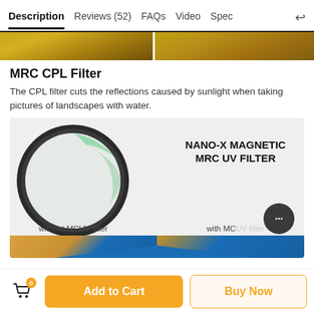Description | Reviews (52) | FAQs | Video | Spec
[Figure (photo): Two side-by-side landscape photos showing golden autumn leaves, partially cropped at top]
MRC CPL Filter
The CPL filter cuts the reflections caused by sunlight when taking pictures of landscapes with water.
[Figure (photo): Product image showing a circular camera lens filter (MRC UV Filter) with green coating reflection, on grey background. Text reads NANO-X MAGNETIC MRC UV FILTER. Labels: 'without MCUV filter' (left) and 'with MC...' (right). Bottom strip shows comparison photos with blue diagonal design.]
Add to Cart
Buy Now